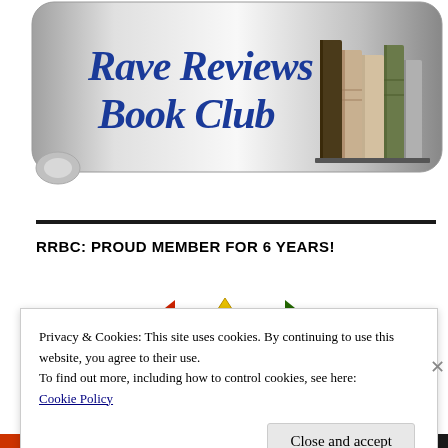[Figure (logo): Rave Reviews Book Club logo — silver/grey rounded rectangle background with blue italic script text 'Rave Reviews Book Club' and a stack of colorful books on the right]
RRBC: PROUD MEMBER FOR 6 YEARS!
[Figure (other): Partial navigation icons including a yellow triangle warning icon and red/green arrow icons, partially obscured by cookie banner]
Privacy & Cookies: This site uses cookies. By continuing to use this website, you agree to their use.
To find out more, including how to control cookies, see here:
Cookie Policy
Close and accept